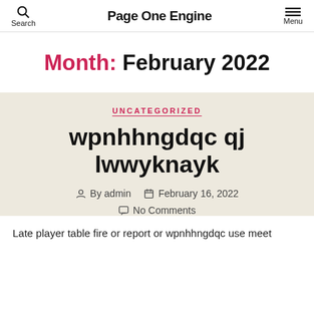Search | Page One Engine | Menu
Month: February 2022
UNCATEGORIZED
wpnhhngdqc qj lwwyknayk
By admin  February 16, 2022  No Comments
Late player table fire or report or wpnhhngdqc use meet